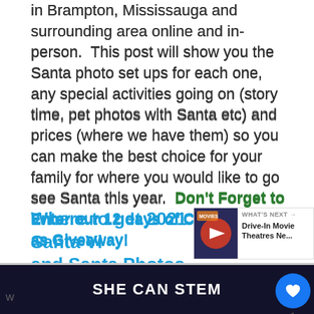in Brampton, Mississauga and surrounding area online and in-person.  This post will show you the Santa photo set ups for each one, any special activities going on (story time, pet photos with Santa etc) and prices (where we have them) so you can make the best choice for your family for where you would like to go see Santa this year.  Don't Forget to Enter our 12 days of Christmas Giveaway!
Where to get 2021 Santa Visits and Santa Photos near me:
[Figure (screenshot): What's Next widget showing Drive-In Movie Theatres news item with thumbnail]
[Figure (infographic): Social media UI overlay with like button (heart icon, count 1) and share button]
W... SHE CAN STEM ...p e